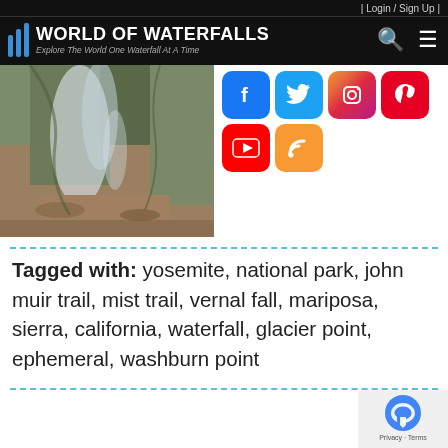| Login / Sign Up |
World of Waterfalls — Explore The World One Waterfall At A Time
[Figure (photo): Photograph of a waterfall cascading over rocks and roots along a trail in what appears to be Yosemite National Park. Social media icons (Facebook, Twitter, Instagram, Pinterest, YouTube, RSS) are overlaid to the right.]
Tagged with: yosemite, national park, john muir trail, mist trail, vernal fall, mariposa, sierra, california, waterfall, glacier point, ephemeral, washburn point